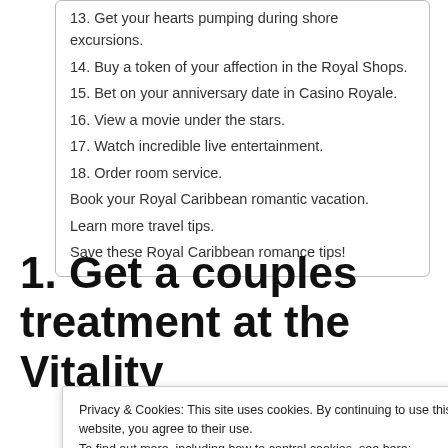13. Get your hearts pumping during shore excursions.
14. Buy a token of your affection in the Royal Shops.
15. Bet on your anniversary date in Casino Royale.
16. View a movie under the stars.
17. Watch incredible live entertainment.
18. Order room service.
Book your Royal Caribbean romantic vacation.
Learn more travel tips.
Save these Royal Caribbean romance tips!
1. Get a couples treatment at the Vitality
Privacy & Cookies: This site uses cookies. By continuing to use this website, you agree to their use. To find out more, including how to control cookies, see here: Cookie Policy
Close and accept